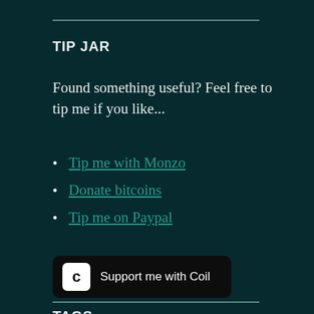TIP JAR
Found something useful? Feel free to tip me if you like...
Tip me with Monzo
Donate bitcoins
Tip me on Paypal
[Figure (other): Support me with Coil button — dark rounded rectangle with Coil logo icon on left and text 'Support me with Coil' on right]
TAGS